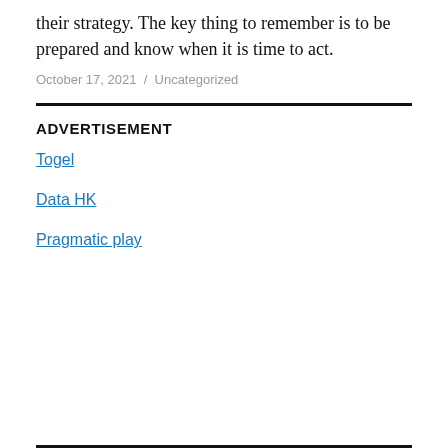their strategy. The key thing to remember is to be prepared and know when it is time to act.
October 17, 2021 / Uncategorized
ADVERTISEMENT
Togel
Data HK
Pragmatic play